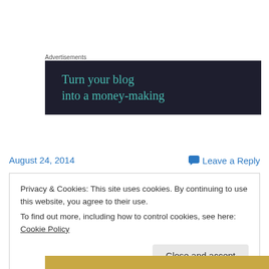Advertisements
[Figure (illustration): Advertisement banner with dark navy background and teal text reading 'Turn your blog into a money-making']
August 24, 2014
Leave a Reply
Privacy & Cookies: This site uses cookies. By continuing to use this website, you agree to their use.
To find out more, including how to control cookies, see here: Cookie Policy
Close and accept